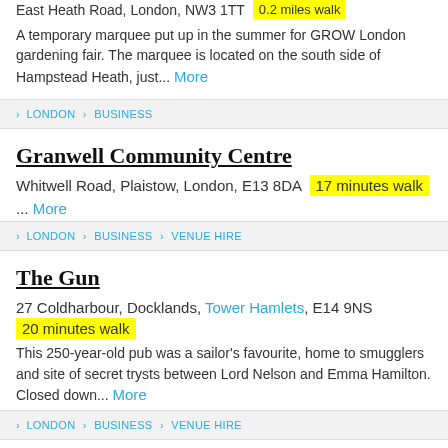East Heath Road, London, NW3 1TT  0.2 miles walk
A temporary marquee put up in the summer for GROW London gardening fair. The marquee is located on the south side of Hampstead Heath, just... More
LONDON > BUSINESS
Granwell Community Centre
Whitwell Road, Plaistow, London, E13 8DA  17 minutes walk
... More
LONDON > BUSINESS > VENUE HIRE
The Gun
27 Coldharbour, Docklands, Tower Hamlets, E14 9NS
20 minutes walk
This 250-year-old pub was a sailor's favourite, home to smugglers and site of secret trysts between Lord Nelson and Emma Hamilton. Closed down... More
LONDON > BUSINESS > VENUE HIRE